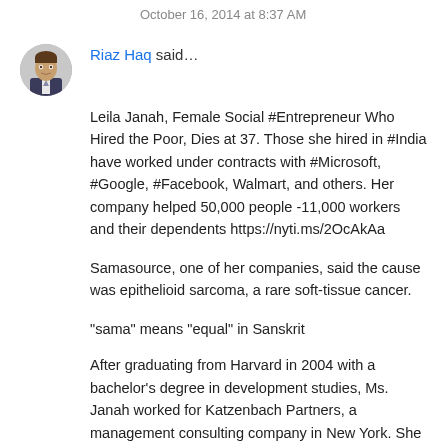October 16, 2014 at 8:37 AM
Riaz Haq said…
Leila Janah, Female Social #Entrepreneur Who Hired the Poor, Dies at 37. Those she hired in #India have worked under contracts with #Microsoft, #Google, #Facebook, Walmart, and others. Her company helped 50,000 people -11,000 workers and their dependents https://nyti.ms/2OcAkAa
Samasource, one of her companies, said the cause was epithelioid sarcoma, a rare soft-tissue cancer.
“sama” means “equal” in Sanskrit
After graduating from Harvard in 2004 with a bachelor's degree in development studies, Ms. Janah worked for Katzenbach Partners, a management consulting company in New York. She was later a founding director of Incentives…